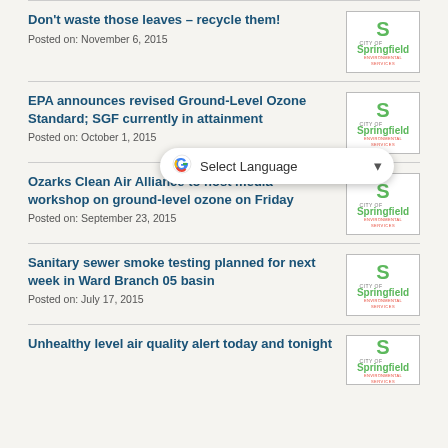Don't waste those leaves – recycle them!
Posted on: November 6, 2015
[Figure (logo): City of Springfield Environmental Services logo]
EPA announces revised Ground-Level Ozone Standard; SGF currently in attainment
Posted on: October 1, 2015
[Figure (logo): City of Springfield Environmental Services logo]
Ozarks Clean Air Alliance to host media workshop on ground-level ozone on Friday
Posted on: September 23, 2015
[Figure (logo): City of Springfield Environmental Services logo]
Sanitary sewer smoke testing planned for next week in Ward Branch 05 basin
Posted on: July 17, 2015
[Figure (logo): City of Springfield Environmental Services logo]
Unhealthy level air quality alert today and tonight
[Figure (logo): City of Springfield Environmental Services logo]